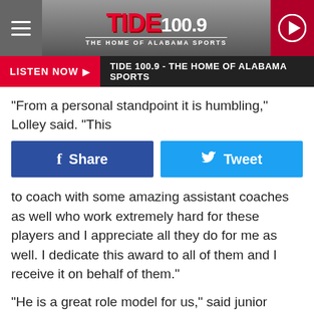TIDE 100.9 - THE HOME OF ALABAMA SPORTS
LISTEN NOW ▶  TIDE 100.9 - THE HOME OF ALABAMA SPORTS
"From a personal standpoint it is humbling," Lolley said. "This
Share | Tweet
to coach with some amazing assistant coaches as well who work extremely hard for these players and I appreciate all they do for me as well. I dedicate this award to all of them and I receive it on behalf of them."
"He is a great role model for us," said junior quarterback Tanner Bailey. "The best thing about coach Lolley is that he treats us like his own. He corrects us and gets into us, but he does it to make us better. He took this team to the state